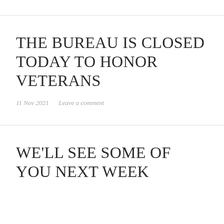THE BUREAU IS CLOSED TODAY TO HONOR VETERANS
11 Nov 2021   Leave a comment
WE'LL SEE SOME OF YOU NEXT WEEK